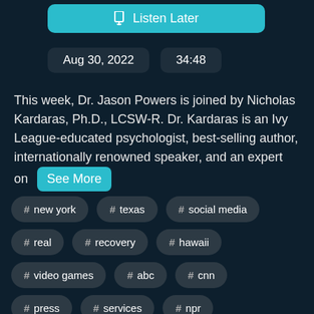Listen Later
Aug 30, 2022   34:48
This week, Dr. Jason Powers is joined by Nicholas Kardaras, Ph.D., LCSW-R. Dr. Kardaras is an Ivy League-educated psychologist, best-selling author, internationally renowned speaker, and an expert on See More
# new york
# texas
# social media
# real
# recovery
# hawaii
# video games
# abc
# cnn
# press
# services
# npr